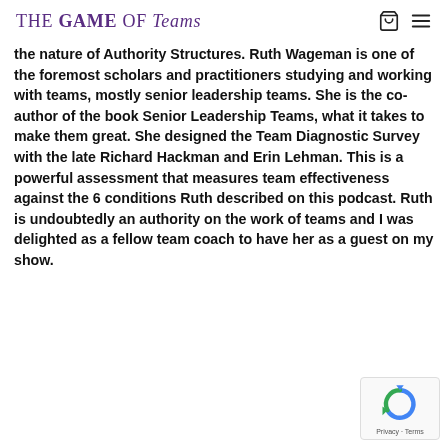THE GAME OF Teams
the nature of Authority Structures. Ruth Wageman is one of the foremost scholars and practitioners studying and working with teams, mostly senior leadership teams. She is the co-author of the book Senior Leadership Teams, what it takes to make them great. She designed the Team Diagnostic Survey with the late Richard Hackman and Erin Lehman. This is a powerful assessment that measures team effectiveness against the 6 conditions Ruth described on this podcast. Ruth is undoubtedly an authority on the work of teams and I was delighted as a fellow team coach to have her as a guest on my show.
[Figure (logo): reCAPTCHA privacy badge with recaptcha logo and Privacy · Terms text]